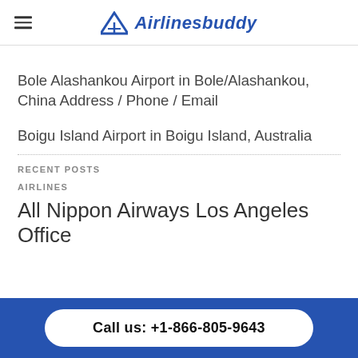Airlinesbuddy
Bole Alashankou Airport in Bole/Alashankou, China Address / Phone / Email
Boigu Island Airport in Boigu Island, Australia
RECENT POSTS
AIRLINES
All Nippon Airways Los Angeles Office
Call us: +1-866-805-9643